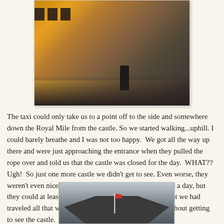[Figure (photo): A person standing near Edinburgh Castle at sunset/dusk, with warm golden light illuminating the stone pavement, castle battlements visible at top.]
The taxi could only take us to a point off to the side and somewhere down the Royal Mile from the castle. So we started walking...uphill. I could barely breathe and I was not too happy.  We got all the way up there and were just approaching the entrance when they pulled the rope over and told us that the castle was closed for the day.  WHAT??  Ugh!  So just one more castle we didn't get to see. Even worse, they weren't even nice about it. I guess they see lots of people a day, but they could at least have seemed to care about the fact that we had traveled all that way and had to leave in the morning without getting to see the castle.
[Figure (photo): Partial view of Edinburgh Castle rooftop with a flagpole and flag visible against a grey sky.]